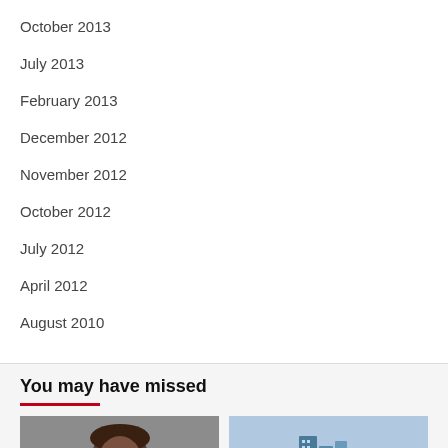October 2013
July 2013
February 2013
December 2012
November 2012
October 2012
July 2012
April 2012
August 2010
You may have missed
[Figure (photo): Portrait photo of a person with braided hair against a grey background]
[Figure (photo): Aerial cityscape photo with tall buildings; red badge with bookmark icon in bottom right corner]